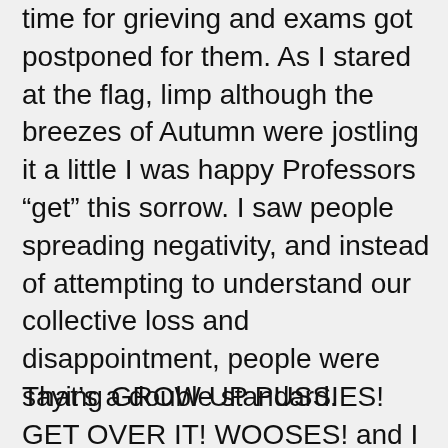time for grieving and exams got postponed for them. As I stared at the flag, limp although the breezes of Autumn were jostling it a little I was happy Professors “get” this sorrow. I saw people spreading negativity, and instead of attempting to understand our collective loss and disappointment, people were saying GROW UP PUSSIES! GET OVER IT! WOOSES! and I was so sad. Because these were the same folks who accepted a guy who said Oh yeah I’ll accept the election results. If I win.
That’s a double standard.